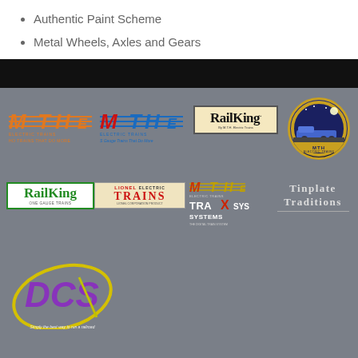Authentic Paint Scheme
Metal Wheels, Axles and Gears
[Figure (logo): MTH Electric Trains brand logos and product line logos on gray background including MTH HO, MTH S-Gauge, RailKing, MTH Premier, RailKing One Gauge, Lionel Electric Trains, MTH TraX Systems, Tinplate Traditions, and DCS]
Simply the best way to run a railroad